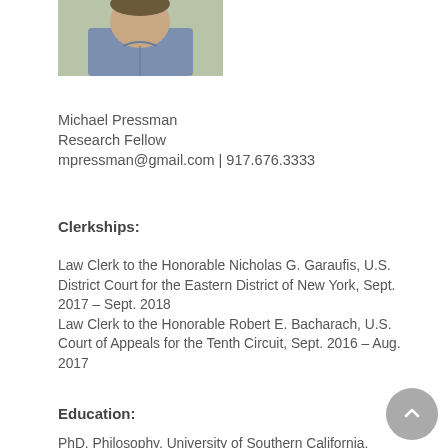[Figure (photo): Headshot of Michael Pressman, a man wearing a blue button-up shirt, photographed outdoors.]
Michael Pressman
Research Fellow
mpressman@gmail.com | 917.676.3333
Clerkships:
Law Clerk to the Honorable Nicholas G. Garaufis, U.S. District Court for the Eastern District of New York, Sept. 2017 – Sept. 2018
Law Clerk to the Honorable Robert E. Bacharach, U.S. Court of Appeals for the Tenth Circuit, Sept. 2016 – Aug. 2017
Education:
PhD, Philosophy, University of Southern California,